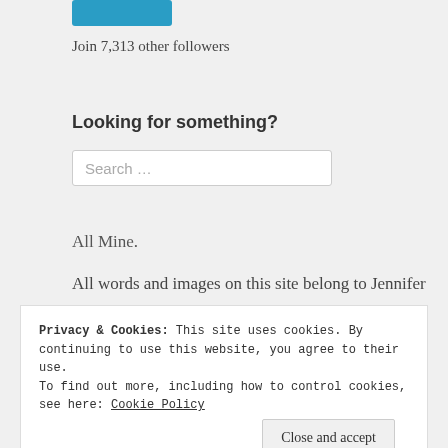[Figure (other): Blue button/rectangle at top left]
Join 7,313 other followers
Looking for something?
Search ...
All Mine.
All words and images on this site belong to Jennifer
Privacy & Cookies: This site uses cookies. By continuing to use this website, you agree to their use.
To find out more, including how to control cookies, see here: Cookie Policy
Close and accept
larksome